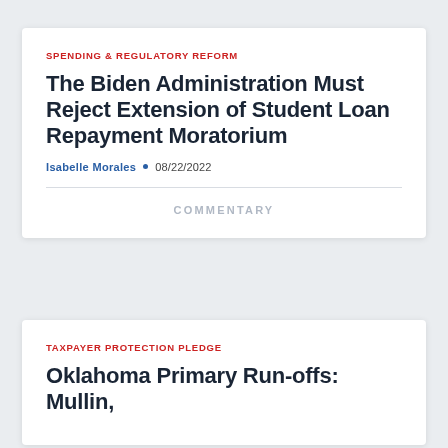SPENDING & REGULATORY REFORM
The Biden Administration Must Reject Extension of Student Loan Repayment Moratorium
Isabelle Morales • 08/22/2022
COMMENTARY
TAXPAYER PROTECTION PLEDGE
Oklahoma Primary Run-offs: Mullin,